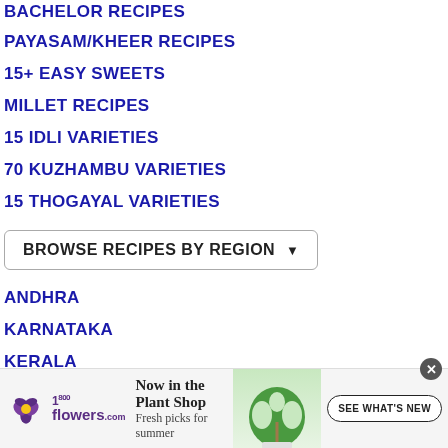BACHELOR RECIPES
PAYASAM/KHEER RECIPES
15+ EASY SWEETS
MILLET RECIPES
15 IDLI VARIETIES
70 KUZHAMBU VARIETIES
15 THOGAYAL VARIETIES
BROWSE RECIPES BY REGION ▼
ANDHRA
KARNATAKA
KERALA
[Figure (infographic): 1-800-flowers.com advertisement banner: Now in the Plant Shop. Fresh picks for summer. SEE WHAT'S NEW button, monstera plant image.]